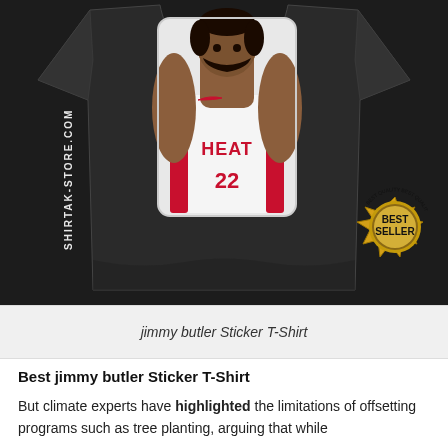[Figure (photo): A black t-shirt with a cartoon sticker graphic of Jimmy Butler wearing a Miami Heat #22 jersey. The t-shirt is displayed on a white background. A 'SHIRTAK-STORE.COM' watermark is visible in white text rotated diagonally on the left side. A gold 'BEST SELLER' badge is in the bottom right corner.]
jimmy butler Sticker T-Shirt
Best jimmy butler Sticker T-Shirt
But climate experts have highlighted the limitations of offsetting programs such as tree planting, arguing that while